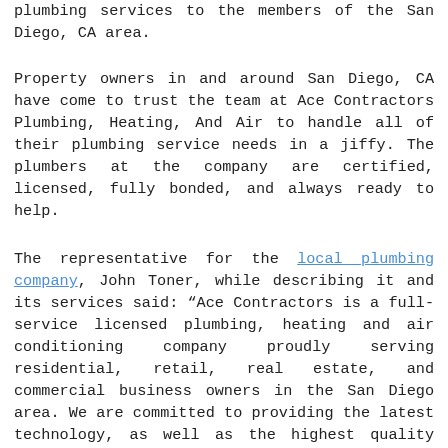plumbing services to the members of the San Diego, CA area.
Property owners in and around San Diego, CA have come to trust the team at Ace Contractors Plumbing, Heating, And Air to handle all of their plumbing service needs in a jiffy. The plumbers at the company are certified, licensed, fully bonded, and always ready to help.
The representative for the local plumbing company, John Toner, while describing it and its services said: “Ace Contractors is a full-service licensed plumbing, heating and air conditioning company proudly serving residential, retail, real estate, and commercial business owners in the San Diego area. We are committed to providing the latest technology, as well as the highest quality products. Ace Contractors offers fast, efficient scheduling and excellent service by our highly-trained technicians, as well as competitive pricing. This is what sets us apart from our competition, and it’s made us leaders in our local plumbing, heating and air conditioning space.”